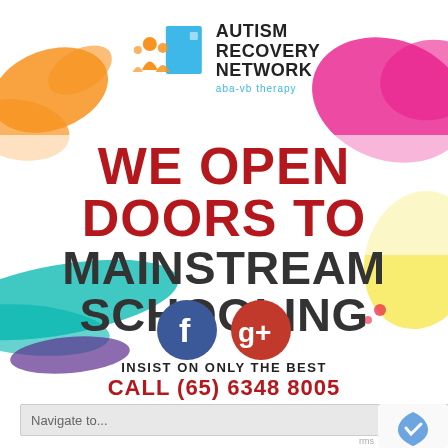[Figure (logo): Autism Recovery Network logo with teal square and orange figures, with text 'AUTISM RECOVERY NETWORK aba-vb therapy']
WE OPEN DOORS TO MAINSTREAM SCHOOLING
[Figure (illustration): Facebook and Google+ social media icons]
INSIST ON ONLY THE BEST
CALL (65) 6348 8005
Navigate to...